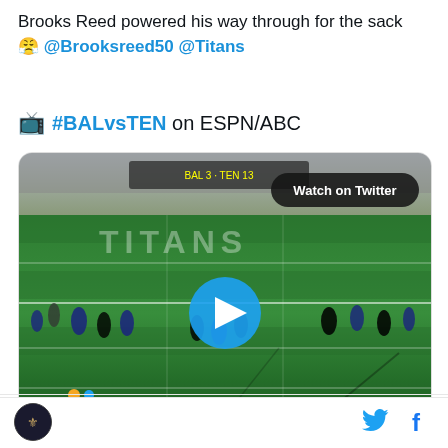Brooks Reed powered his way through for the sack 😤 @Brooksreed50 @Titans
📺 #BALvsTEN on ESPN/ABC
[Figure (screenshot): A football game video thumbnail showing players lined up on a green field with a blue play button overlay and a 'Watch on Twitter' badge. The stands are visible in the background.]
6:50 PM · Jan 10, 2021
[Figure (logo): Circular team logo on dark background in bottom bar]
[Figure (logo): Twitter bird icon in bottom bar]
[Figure (logo): Facebook f icon in bottom bar]